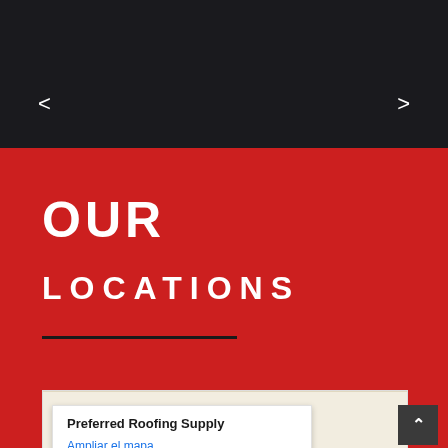[Figure (screenshot): Dark navigation header with left and right arrow navigation controls on black background]
OUR LOCATIONS
Preferred Roofing Supply
Ampliar el mapa